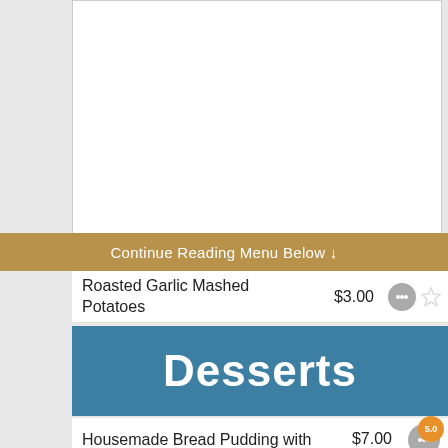[Figure (screenshot): White card area representing upper portion of menu page (image/ad area)]
Continue Reading Menu Below ↓
Roasted Garlic Mashed Potatoes    $3.00
Desserts
Housemade Bread Pudding with Praline Sauce    $7.00
New York Cheesecake    $7.00